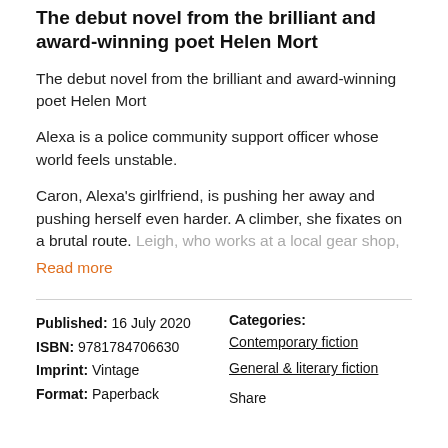The debut novel from the brilliant and award-winning poet Helen Mort
The debut novel from the brilliant and award-winning poet Helen Mort
Alexa is a police community support officer whose world feels unstable.
Caron, Alexa's girlfriend, is pushing her away and pushing herself even harder. A climber, she fixates on a brutal route. Leigh, who works at a local gear shop,
Read more
Published: 16 July 2020
ISBN: 9781784706630
Imprint: Vintage
Format: Paperback
Categories:
Contemporary fiction
General & literary fiction
Share